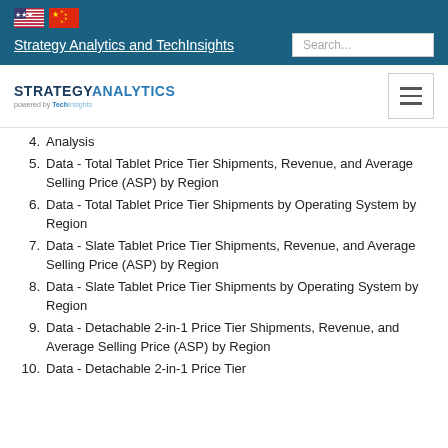Strategy Analytics and TechInsights
[Figure (logo): Strategy Analytics powered by TechInsights logo with hamburger menu icon]
4. Analysis
5. Data - Total Tablet Price Tier Shipments, Revenue, and Average Selling Price (ASP) by Region
6. Data - Total Tablet Price Tier Shipments by Operating System by Region
7. Data - Slate Tablet Price Tier Shipments, Revenue, and Average Selling Price (ASP) by Region
8. Data - Slate Tablet Price Tier Shipments by Operating System by Region
9. Data - Detachable 2-in-1 Price Tier Shipments, Revenue, and Average Selling Price (ASP) by Region
10. Data - Detachable 2-in-1 Price Tier...